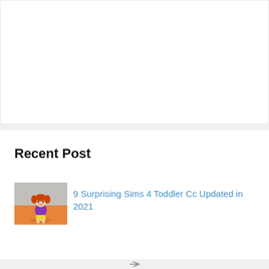[Figure (illustration): Large white rectangular area at the top of the page, blank/advertisement placeholder]
Recent Post
[Figure (illustration): Thumbnail image of a cartoon Sims 4 toddler character wearing a purple top, standing in a room with orange floor and grey walls]
9 Surprising Sims 4 Toddler Cc Updated in 2021